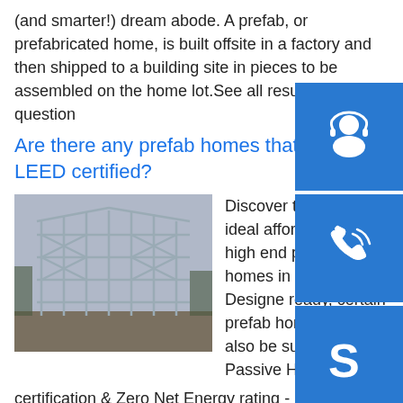(and smarter!) dream abode. A prefab, or prefabricated home, is built offsite in a factory and then shipped to a building site in pieces to be assembled on the home lot.See all results for this question
Are there any prefab homes that are LEED certified?
[Figure (photo): Steel frame structure of a prefab home under construction]
Discover the models! ideal affordable and high end prefab eco homes in or fully built. Designed ready, certain prefab homes may also be suitable for Passive House certification & Zero Net Energy rating - be sure to ask for more details.See all results for this questionp.info Why are prefab homes more durable than traditional homes? Prefab homes require extra materials to reinforce the house frame for delivery, so they're inherently more
[Figure (illustration): Customer support icon - person with headset on blue background]
[Figure (illustration): Phone/call icon on blue background]
[Figure (illustration): Skype icon on blue background]